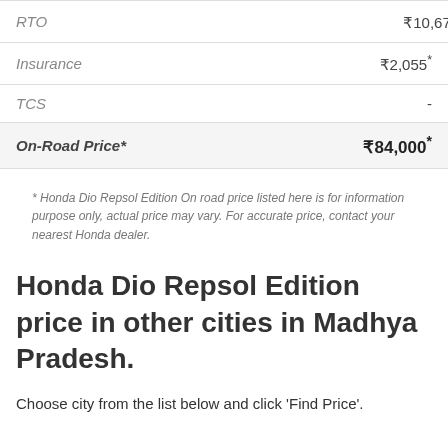| Item | Price |
| --- | --- |
| RTO | ₹10,678* |
| Insurance | ₹2,055* |
| TCS | - |
| On-Road Price* | ₹84,000* |
* Honda Dio Repsol Edition On road price listed here is for information purpose only, actual price may vary. For accurate price, contact your nearest Honda dealer.
Honda Dio Repsol Edition price in other cities in Madhya Pradesh.
Choose city from the list below and click 'Find Price'.